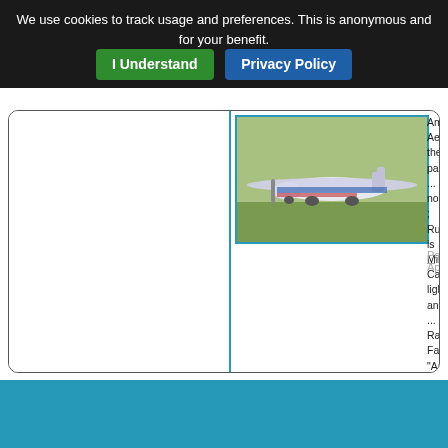We use cookies to track usage and preferences. This is anonymous and for your benefit. I Understand | Privacy Policy
[Figure (photo): A small blue and white aircraft (light sport or ultralight) on a grass field, viewed from the front-left.]
American Aer... the payware ... noseleg ; Rud... is Mike Calla... lighting and ... Rateau's Fal... "American Ae...
Posted Apr 28